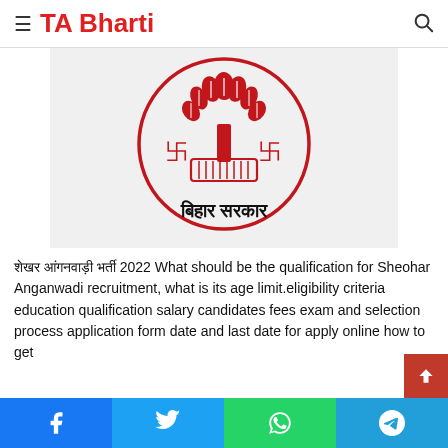TA Bharti
[Figure (logo): Bihar Sarkar (Bihar Government) official emblem — a red circular seal with a tree (ashoka/banyan style) above a plinth with swastika symbols on either side, and Devanagari text 'बिहार सरकार' below the circle]
शेखर आंगनवाड़ी भर्ती 2022 What should be the qualification for Sheohar Anganwadi recruitment, what is its age limit.eligibility criteria education qualification salary candidates fees exam and selection process application form date and last date for apply online how to get